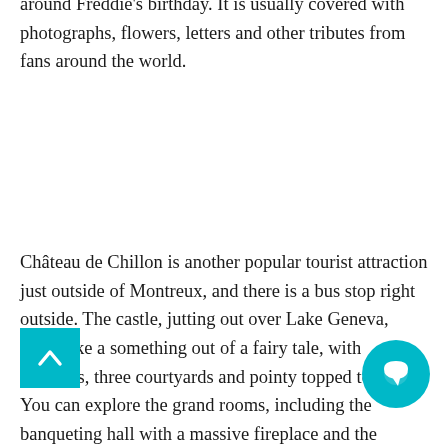around Freddie's birthday. It is usually covered with photographs, flowers, letters and other tributes from fans around the world.
Château de Chillon is another popular tourist attraction just outside of Montreux, and there is a bus stop right outside. The castle, jutting out over Lake Geneva, looks like a something out of a fairy tale, with ramparts, three courtyards and pointy topped towers. You can explore the grand rooms, including the banqueting hall with a massive fireplace and the vaulted cellars that were used as a prison - look for Lord Byron's graffiti on one of the pillars! He visited the castle in the